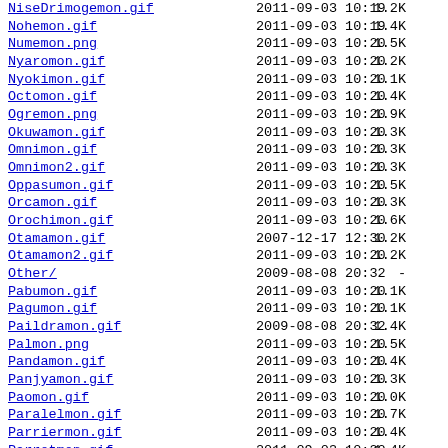| Name | Date | Time | Size |
| --- | --- | --- | --- |
| NiseDrimogemon.gif | 2011-09-03 | 10:19 | 1.2K |
| Nohemon.gif | 2011-09-03 | 10:19 | 1.4K |
| Numemon.png | 2011-09-03 | 10:20 | 1.5K |
| Nyaromon.gif | 2011-09-03 | 10:20 | 1.2K |
| Nyokimon.gif | 2011-09-03 | 10:20 | 1.1K |
| Octomon.gif | 2011-09-03 | 10:20 | 1.4K |
| Ogremon.png | 2011-09-03 | 10:20 | 1.9K |
| Okuwamon.gif | 2011-09-03 | 10:20 | 1.3K |
| Omnimon.gif | 2011-09-03 | 10:20 | 1.3K |
| Omnimon2.gif | 2011-09-03 | 10:20 | 1.3K |
| Oppasumon.gif | 2011-09-03 | 10:20 | 1.5K |
| Orcamon.gif | 2011-09-03 | 10:20 | 1.3K |
| Orochimon.gif | 2011-09-03 | 10:20 | 1.6K |
| Otamamon.gif | 2007-12-17 | 12:30 | 1.2K |
| Otamamon2.gif | 2011-09-03 | 10:20 | 1.2K |
| Other/ | 2009-08-08 | 20:32 | - |
| Pabumon.gif | 2011-09-03 | 10:20 | 1.1K |
| Pagumon.gif | 2011-09-03 | 10:20 | 1.1K |
| Paildramon.gif | 2009-08-08 | 20:32 | 1.4K |
| Palmon.png | 2011-09-03 | 10:20 | 1.5K |
| Pandamon.gif | 2011-09-03 | 10:20 | 1.4K |
| Panjyamon.gif | 2011-09-03 | 10:20 | 1.3K |
| Paomon.gif | 2011-09-03 | 10:20 | 1.0K |
| Paralelmon.gif | 2011-09-03 | 10:20 | 1.7K |
| Parriermon.gif | 2011-09-03 | 10:20 | 1.4K |
| Parrotmon.gif | 2011-09-03 | 10:20 | 1.4K |
| Patamon.png | 2007-12-17 | 12:30 | 660 |
| Patamon2.png | 2011-09-03 | 10:20 | 662 |
| Patamon3.png | 2011-09-03 | 10:20 | 677 |
| Peacockmon.gif | 2011-09-03 | 10:20 | 1.4K |